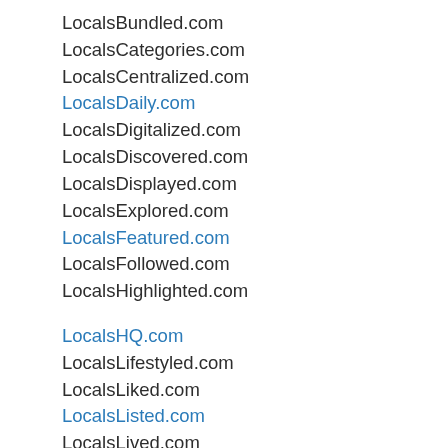LocalsBundled.com
LocalsCategories.com
LocalsCentralized.com
LocalsDaily.com
LocalsDigitalized.com
LocalsDiscovered.com
LocalsDisplayed.com
LocalsExplored.com
LocalsFeatured.com
LocalsFollowed.com
LocalsHighlighted.com
LocalsHQ.com
LocalsLifestyled.com
LocalsLiked.com
LocalsListed.com
LocalsLived.com
LocalsMarketed.com
LocalsNetworked.com
LocalsOrganized.com